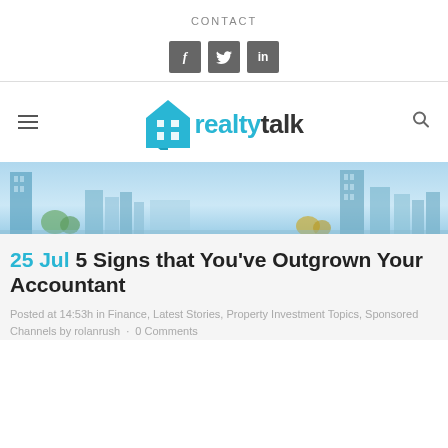CONTACT
[Figure (other): Social media icons: Facebook, Twitter, LinkedIn]
[Figure (logo): Realty Talk logo with house icon, cyan and dark text]
[Figure (photo): City skyline banner photo with blue sky and skyscrapers]
25 Jul 5 Signs that You've Outgrown Your Accountant
Posted at 14:53h in Finance, Latest Stories, Property Investment Topics, Sponsored Channels by rolanrush · 0 Comments